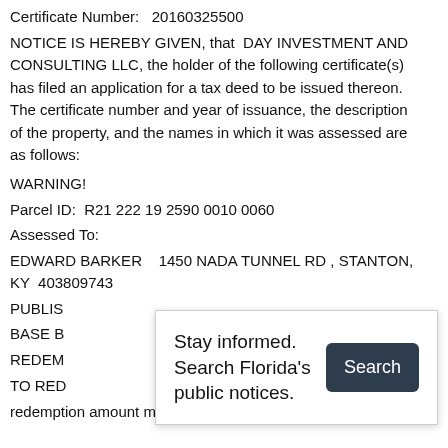Certificate Number:   20160325500
NOTICE IS HEREBY GIVEN, that  DAY INVESTMENT AND CONSULTING LLC, the holder of the following certificate(s) has filed an application for a tax deed to be issued thereon.  The certificate number and year of issuance, the description of the property, and the names in which it was assessed are as follows:
WARNING!
Parcel ID:  R21 222 19 2590 0010 0060
Assessed To:
EDWARD BARKER   1450 NADA TUNNEL RD , STANTON, KY  403809743
PUBLIS
BASE B
REDEM
TO RED
redemption amount must be received in cash or certified
[Figure (infographic): A popup overlay panel reading 'Stay informed. Search Florida's public notices.' with a dark Search button on the right.]